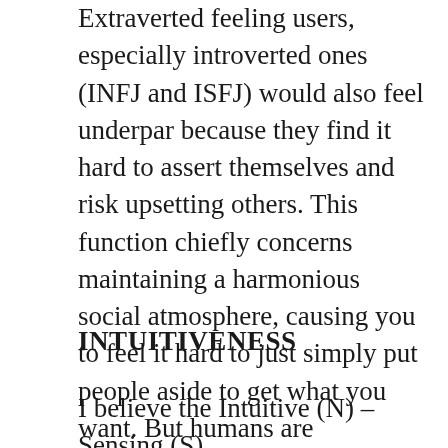Extraverted feeling users, especially introverted ones (INFJ and ISFJ) would also feel underpar because they find it hard to assert themselves and risk upsetting others. This function chiefly concerns maintaining a harmonious social atmosphere, causing you to feel it hard to just simply put people aside to get what you want. But humans are ultimately social creatures and being able to get on the good sides of the group often can take you far ahead, including in finance and career.
INTUITIVENESS
I believe the Intuitive (N) – Sensing (S)